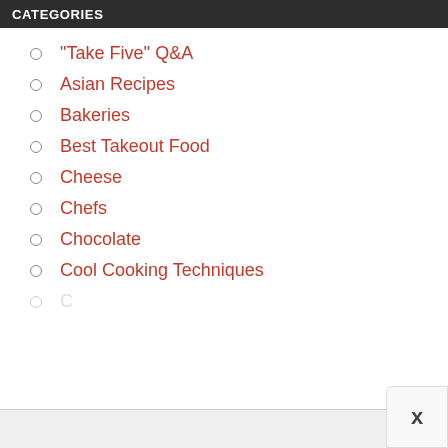CATEGORIES
"Take Five" Q&A
Asian Recipes
Bakeries
Best Takeout Food
Cheese
Chefs
Chocolate
Cool Cooking Techniques